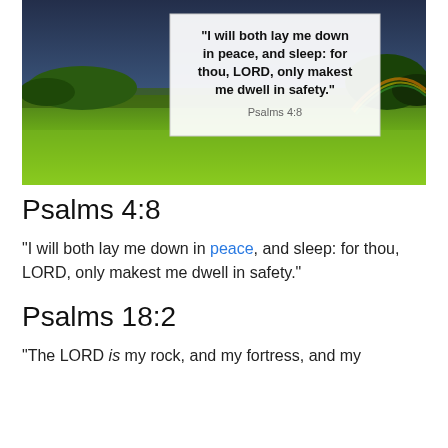[Figure (photo): Pastoral landscape photo with dark stormy sky, green fields, trees, and a rainbow on the right. A white text box overlay contains a Bible quote.]
Psalms 4:8
“I will both lay me down in peace, and sleep: for thou, LORD, only makest me dwell in safety.”
Psalms 18:2
“The LORD is my rock, and my fortress, and my